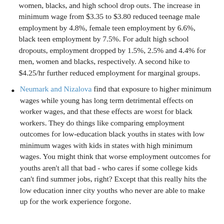women, blacks, and high school drop outs. The increase in minimum wage from $3.35 to $3.80 reduced teenage male employment by 4.8%, female teen employment by 6.6%, black teen employment by 7.5%. For adult high school dropouts, employment dropped by 1.5%, 2.5% and 4.4% for men, women and blacks, respectively. A second hike to $4.25/hr further reduced employment for marginal groups.
Neumark and Nizalova find that exposure to higher minimum wages while young has long term detrimental effects on worker wages, and that these effects are worst for black workers. They do things like comparing employment outcomes for low-education black youths in states with low minimum wages with kids in states with high minimum wages. You might think that worse employment outcomes for youths aren't all that bad - who cares if some college kids can't find summer jobs, right? Except that this really hits the low education inner city youths who never are able to make up for the work experience forgone.